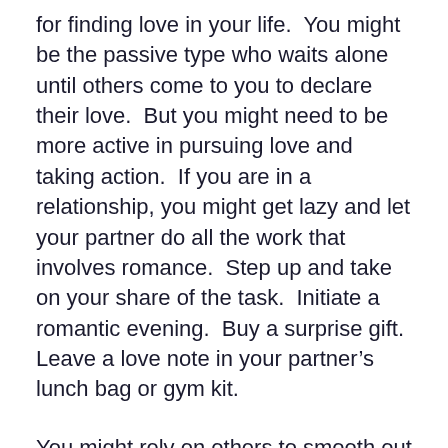for finding love in your life.  You might be the passive type who waits alone until others come to you to declare their love.  But you might need to be more active in pursuing love and taking action.  If you are in a relationship, you might get lazy and let your partner do all the work that involves romance.  Step up and take on your share of the task.  Initiate a romantic evening.  Buy a surprise gift.  Leave a love note in your partner’s lunch bag or gym kit.
You might rely on others to smooth out social relationships in your life or to do all the emotional work of maintaining strong ties with family and friends (things like planning